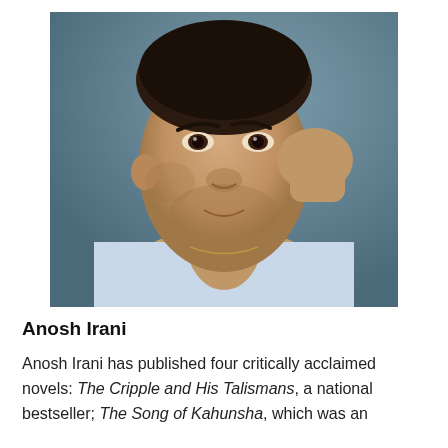[Figure (photo): Headshot portrait of Anosh Irani, a man with dark hair and eyes, resting his chin on his hand, wearing a light blue collared shirt, against a blurred grey-blue background.]
Anosh Irani
Anosh Irani has published four critically acclaimed novels: The Cripple and His Talismans, a national bestseller; The Song of Kahunsha, which was an